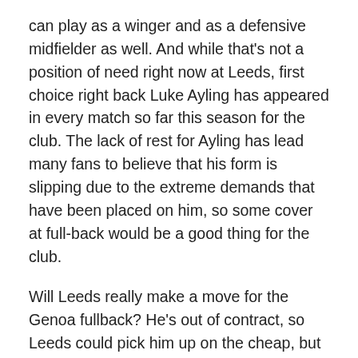can play as a winger and as a defensive midfielder as well. And while that's not a position of need right now at Leeds, first choice right back Luke Ayling has appeared in every match so far this season for the club. The lack of rest for Ayling has lead many fans to believe that his form is slipping due to the extreme demands that have been placed on him, so some cover at full-back would be a good thing for the club.
Will Leeds really make a move for the Genoa fullback? He's out of contract, so Leeds could pick him up on the cheap, but Leeds have been linked to a number of Serie A defenders in the past, and none of them have come to fruition, although that might have had more to do with the price and wage demands than a lack of interest from the club. The age of the player also suggests that this would be a temporary deal, as Leeds